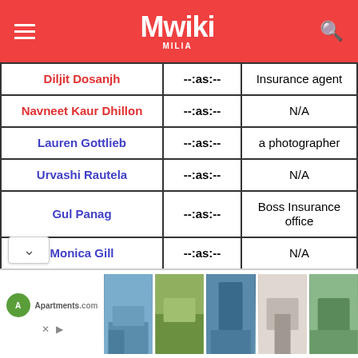[Figure (screenshot): Mwiki website header with red background, hamburger menu on left, Mwiki logo in center, search icon on right]
| Name | As | Role |
| --- | --- | --- |
| Diljit Dosanjh | --:as:-- | Insurance agent |
| Navneet Kaur Dhillon | --:as:-- | N/A |
| Lauren Gottlieb | --:as:-- | a photographer |
| Urvashi Rautela | --:as:-- | N/A |
| Gul Panag | --:as:-- | Boss Insurance office |
| Monica Gill | --:as:-- | N/A |
| Gurpreet Ghuggi | --:as:-- | Detective |
| [partial] | --:as:-- | N/A |
[Figure (photo): Apartments.com advertisement banner showing multiple apartment complex photos]